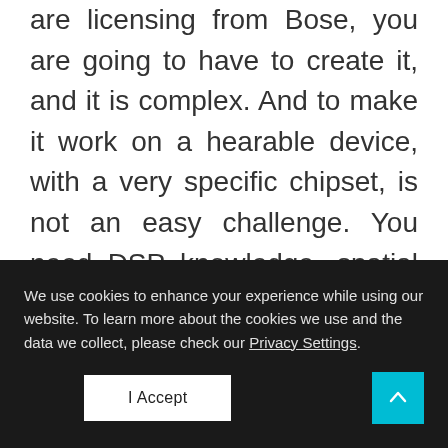are licensing from Bose, you are going to have to create it, and it is complex. And to make it work on a hearable device, with a very specific chipset, is not an easy challenge. You need DSP knowledge, spatial audio knowledge, machine learning knowledge, it's a really wide range of skills and knowledge that you have to have in order to address
We use cookies to enhance your experience while using our website. To learn more about the cookies we use and the data we collect, please check our Privacy Settings.
I Accept